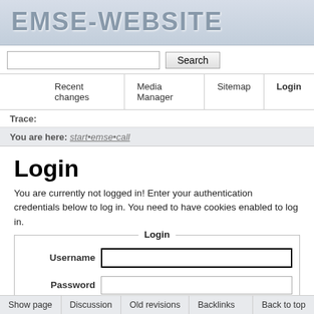EMSE-WEBSITE
[Figure (screenshot): Search input box and Search button]
Recent changes | Media Manager | Sitemap | Login
Trace:
You are here: start•emse•call
Login
You are currently not logged in! Enter your authentication credentials below to log in. You need to have cookies enabled to log in.
[Figure (screenshot): Login form with Username and Password fields, Remember me checkbox, and Login button]
Show page | Discussion | Old revisions | Backlinks | Back to top